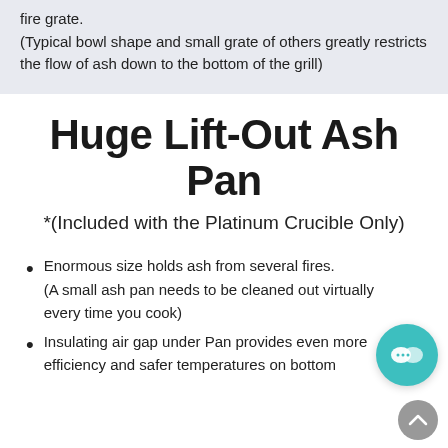fire grate.
(Typical bowl shape and small grate of others greatly restricts the flow of ash down to the bottom of the grill)
Huge Lift-Out Ash Pan
*(Included with the Platinum Crucible Only)
Enormous size holds ash from several fires. (A small ash pan needs to be cleaned out virtually every time you cook)
Insulating air gap under Pan provides even more efficiency and safer temperatures on bottom